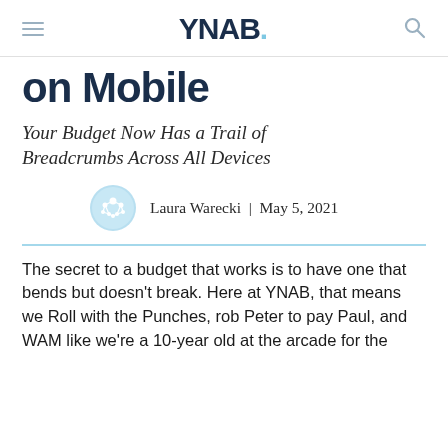YNAB.
on Mobile
Your Budget Now Has a Trail of Breadcrumbs Across All Devices
Laura Warecki | May 5, 2021
The secret to a budget that works is to have one that bends but doesn't break. Here at YNAB, that means we Roll with the Punches, rob Peter to pay Paul, and WAM like we're a 10-year old at the arcade for the